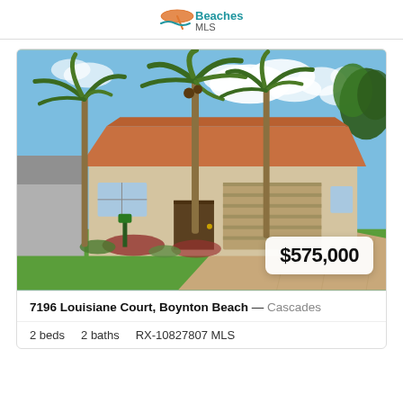BeachesMLS
[Figure (photo): Exterior photo of a single-story Florida home with terracotta tile roof, beige stucco, two-car garage, paver driveway, and palm trees in the front yard. Price badge showing $575,000 overlaid in the lower right.]
7196 Louisiane Court, Boynton Beach — Cascades
2 beds   2 baths   RX-10827807 MLS